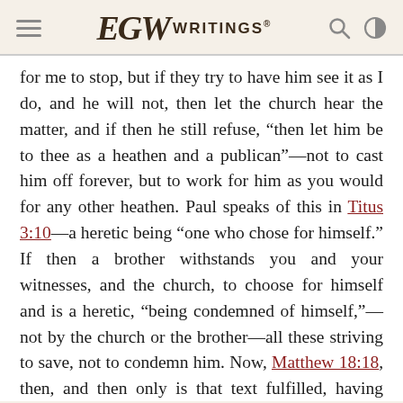EGW WRITINGS®
for me to stop, but if they try to have him see it as I do, and he will not, then let the church hear the matter, and if then he still refuse, “then let him be to thee as a heathen and a publican”—not to cast him off forever, but to work for him as you would for any other heathen. Paul speaks of this in Titus 3:10—a heretic being “one who chose for himself.” If then a brother withstands you and your witnesses, and the church, to choose for himself and is a heretic, “being condemned of himself,”—not by the church or the brother—all these striving to save, not to condemn him. Now, Matthew 18:18, then, and then only is that text fulfilled, having been done in accordance with the Lord’s word it becomes the action of the Lord and is accepted in heaven. If a brother trespass